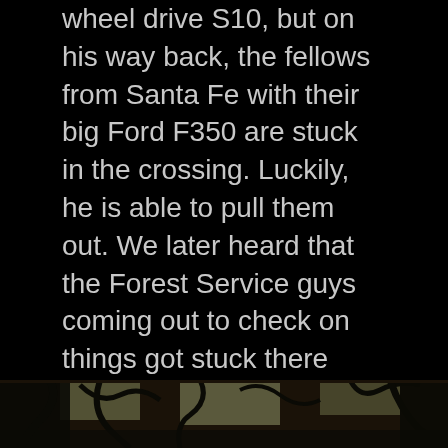wheel drive S10, but on his way back, the fellows from Santa Fe with their big Ford F350 are stuck in the crossing. Luckily, he is able to pull them out. We later heard that the Forest Service guys coming out to check on things got stuck there also. Our musician neighbors, Jerry and Sonja, stay inside their little camper much of the day. Later, Rollie and I walk down to the creek crossing closest to the dispersed camping area, usually a mere inch or less across the road, but we can't even get across without getting quite wet – and this is not even the main creek crossing.
[Figure (photo): Partial view of a nature/outdoor photo showing tree branches against a bright background, cropped at the bottom of the page]